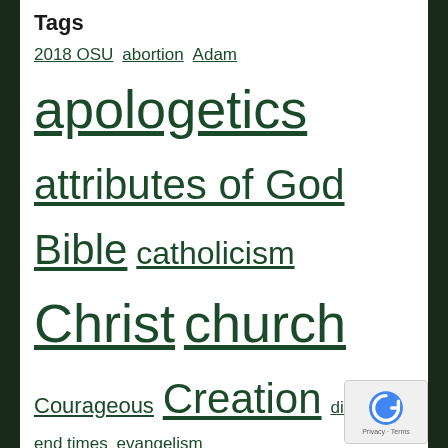Tags
2018 OSU abortion Adam apologetics attributes of God Bible catholicism Christ church Courageous Creation discipline end times evangelism Forgiveness glory gluttony God Gospel Grace Hollywood Holy humility Jesus Joy leadership logic Love Mercy Movies Ohio State Open Air Oracle people power prayer preaching pride programming